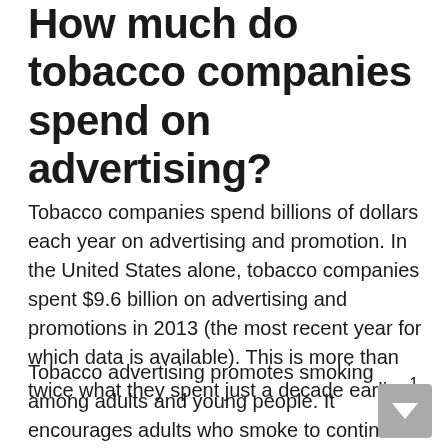How much do tobacco companies spend on advertising?
Tobacco companies spend billions of dollars each year on advertising and promotion. In the United States alone, tobacco companies spent $9.6 billion on advertising and promotions in 2013 (the most recent year for which data is available). This is more than twice what they spent just a decade earlier.1
Tobacco advertising promotes smoking among adults and young people. It encourages adults who smoke to continue smoking and makes it harder for smokers to quit.2,3 Tobacco advertising also encourages young people to start smoking.4